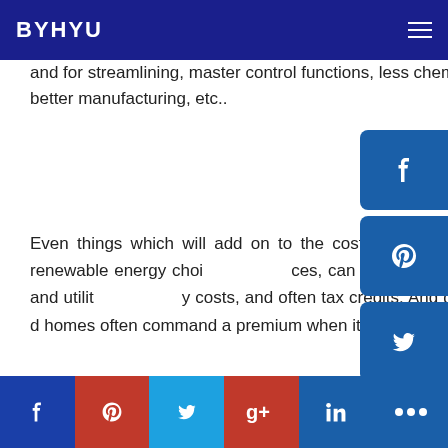BYHYU
and for streamlining, master control functions, less chemicals, better manufacturing, etc..
Even things which will add on to the cost in the short term, such as some renewable energy choices, can be recovered in lower maintenance and utility costs, and often tax credits. And green certified homes often command a premium when it comes time to sell.
[Figure (infographic): Side social share buttons: Facebook, Pinterest, Twitter, Google+, YouTube, LinkedIn]
[Figure (infographic): Bottom social share bar: Facebook, Pinterest, Twitter, Google+, LinkedIn, More (...)]